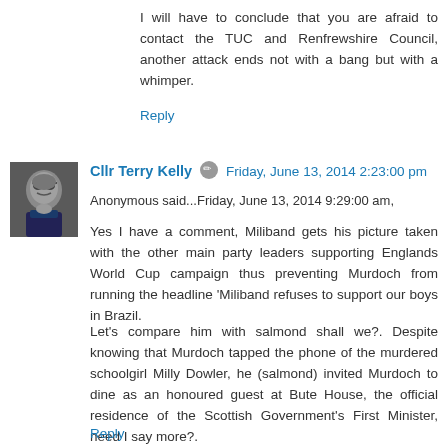I will have to conclude that you are afraid to contact the TUC and Renfrewshire Council, another attack ends not with a bang but with a whimper.
Reply
[Figure (photo): Avatar photo of Cllr Terry Kelly, a man wearing glasses and dark clothing]
Cllr Terry Kelly ✏ Friday, June 13, 2014 2:23:00 pm
Anonymous said...Friday, June 13, 2014 9:29:00 am,
Yes I have a comment, Miliband gets his picture taken with the other main party leaders supporting Englands World Cup campaign thus preventing Murdoch from running the headline 'Miliband refuses to support our boys in Brazil.
Let's compare him with salmond shall we?. Despite knowing that Murdoch tapped the phone of the murdered schoolgirl Milly Dowler, he (salmond) invited Murdoch to dine as an honoured guest at Bute House, the official residence of the Scottish Government's First Minister, need I say more?.
Reply